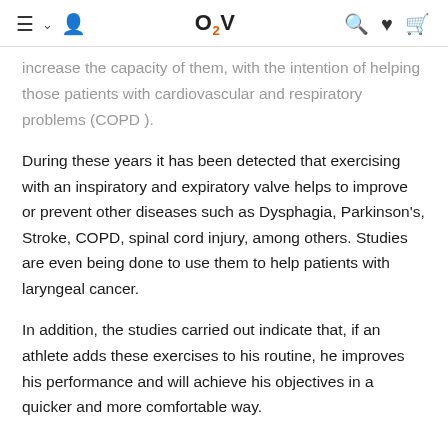O2V [navigation icons: menu, user, search, heart, cart]
increase the capacity of them, with the intention of helping those patients with cardiovascular and respiratory problems (COPD ).
During these years it has been detected that exercising with an inspiratory and expiratory valve helps to improve or prevent other diseases such as Dysphagia, Parkinson's, Stroke, COPD, spinal cord injury, among others. Studies are even being done to use them to help patients with laryngeal cancer.
In addition, the studies carried out indicate that, if an athlete adds these exercises to his routine, he improves his performance and will achieve his objectives in a quicker and more comfortable way.